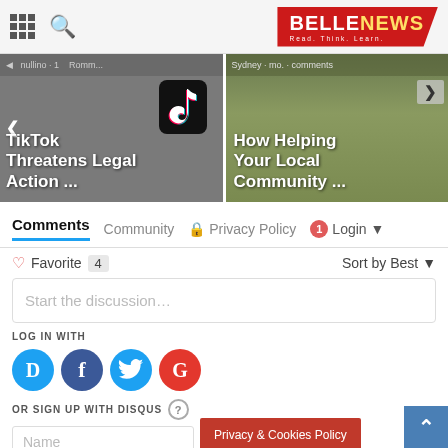[Figure (screenshot): Website header with grid icon, search icon, and BELLENEWS logo on red background with tagline 'Read. Think. Learn.']
[Figure (screenshot): Two article cards: left card shows TikTok logo on dark background with text 'TikTok Threatens Legal Action ...', right card shows people outdoors with text 'How Helping Your Local Community ...']
Comments  Community  Privacy Policy  1  Login
Favorite  4  Sort by Best
Start the discussion...
LOG IN WITH
[Figure (screenshot): Social login icons: Disqus (D, blue circle), Facebook (f, dark blue circle), Twitter (bird, light blue circle), Google (G, red circle)]
OR SIGN UP WITH DISQUS ?
Name
Privacy & Cookies Policy